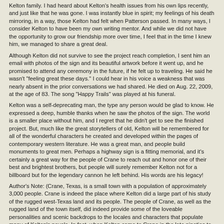Kelton family. I had heard about Kelton's health issues from his own lips recently, and just like that he was gone. I was instantly blue in spirit; my feelings of his death mirroring, in a way, those Kelton had felt when Patterson passed. In many ways, I consider Kelton to have been my own writing mentor. And while we did not have the opportunity to grow our friendship more over time, I feel that in the time I knew him, we managed to share a great deal.
Although Kelton did not survive to see the project reach completion, I sent him an email with photos of the sign and its beautiful artwork before it went up, and he promised to attend any ceremony in the future, if he felt up to traveling. He said he wasn't "feeling great these days." I could hear in his voice a weakness that was nearly absent in the prior conversations we had shared. He died on Aug. 22, 2009, at the age of 83. The song "Happy Trails" was played at his funeral.
Kelton was a self-deprecating man, the type any person would be glad to know. He expressed a deep, humble thanks when he saw the photos of the sign. The world is a smaller place without him, and I regret that he didn't get to see the finished project. But, much like the great storytellers of old, Kelton will be remembered for all of the wonderful characters he created and developed within the pages of contemporary western literature. He was a great man, and people build monuments to great men. Perhaps a highway sign is a fitting memorial, and it's certainly a great way for the people of Crane to reach out and honor one of their best and brightest brothers, but people will surely remember Kelton not for a billboard but for the legendary cannon he left behind. His words are his legacy!
Author's Note: (Crane, Texas, is a small town with a population of approximately 3,000 people. Crane is indeed the place where Kelton did a large part of his study of the rugged west-Texas land and its people. The people of Crane, as well as the rugged land of the town itself, did indeed provide some of the loveable personalities and scenic backdrops to the locales and characters that populate many of Kelton's novels. In fact, when Kelton came to Crane in the late nineties to sign copies of "The Good Old Boys, he wrote in each book autographed to a Crane citizen: "To one of the real good old boys." In truth, Paul Patterson and the people of Crane played a sizeable role in the formation of Kelton as a writer and person. So, if you're ever traveling Crane way, make sure and take a look at the road-side memorial dedicated to one of western literature's greatest icons. And do take a moment to say "howdy" to the good folks of Crane!)